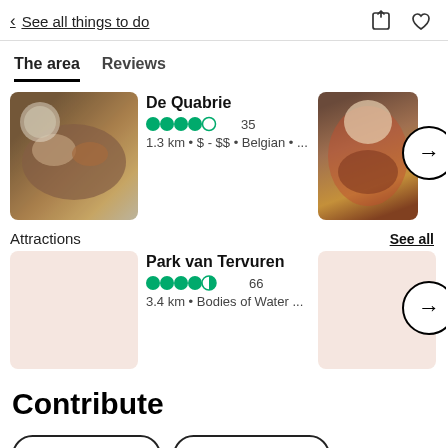< See all things to do
The area   Reviews
De Quabrie
4.0 stars • 35
1.3 km • $ - $$ • Belgian • ...
NICE - Ro
2.9 k...
Attractions    See all
Park van Tervuren
4.5 stars • 66
3.4 km • Bodies of Water ...
Rouge Cl
• Pa
Contribute
Write a review
Upload a photo